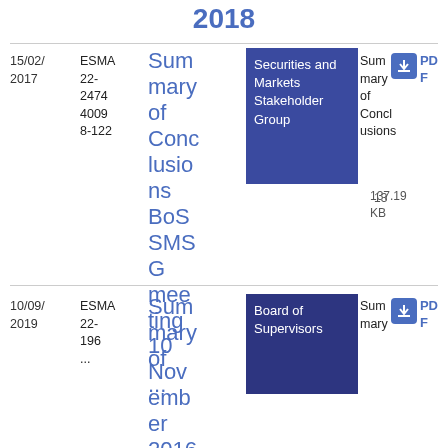2018
| Date | Reference | Title | Group | Type | Size | Format |
| --- | --- | --- | --- | --- | --- | --- |
| 15/02/2017 | ESMA 22-24744009 8-122 | Summary of Conclusions BoS SMSG meeting 10 November 2016 | Securities and Markets Stakeholder Group | Summary of Conclusions | 137.19 KB | PDF |
| 10/09/2019 | ESMA 22-196... | Summary... | Board of Supervisors | Summary... |  | PDF |